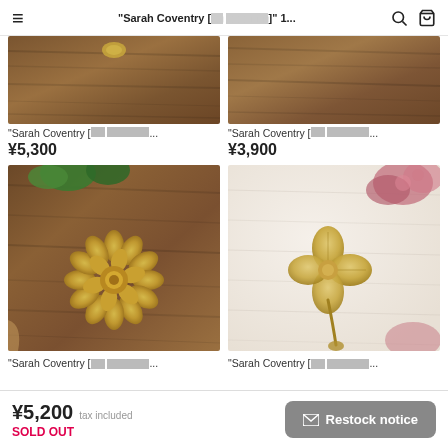"Sarah Coventry [□□ □□□□□□□]" 1... 🔍 🛒
[Figure (photo): Top-left product: partial wood surface with gold jewelry item, cropped]
"Sarah Coventry [□□ □□□□□□□...
¥5,300
[Figure (photo): Top-right product: wood surface with jewelry, cropped]
"Sarah Coventry [□□ □□□□□□□...
¥3,900
[Figure (photo): Bottom-left product: gold floral brooch on wood surface with green leaves]
"Sarah Coventry [□□ □□□□□□□...
[Figure (photo): Bottom-right product: gold clover/flower brooch on white fabric with pink flowers]
"Sarah Coventry [□□ □□□□□□□...
¥5,200 tax included SOLD OUT  Restock notice